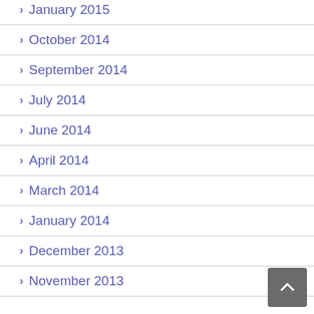January 2015
October 2014
September 2014
July 2014
June 2014
April 2014
March 2014
January 2014
December 2013
November 2013